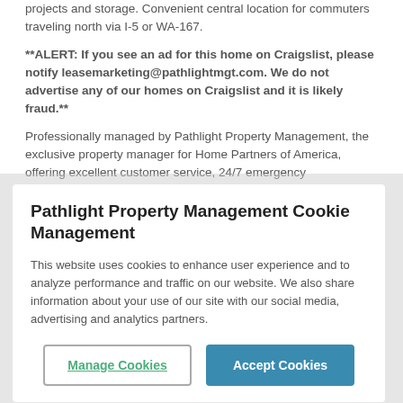projects and storage. Convenient central location for commuters traveling north via I-5 or WA-167.
**ALERT: If you see an ad for this home on Craigslist, please notify leasemarketing@pathlightmgt.com. We do not advertise any of our homes on Craigslist and it is likely fraud.**
Professionally managed by Pathlight Property Management, the exclusive property manager for Home Partners of America, offering excellent customer service, 24/7 emergency maintenance service, online application and payments, and pet-friendly options.
Pathlight Property Management Cookie Management
This website uses cookies to enhance user experience and to analyze performance and traffic on our website. We also share information about your use of our site with our social media, advertising and analytics partners.
Manage Cookies | Accept Cookies